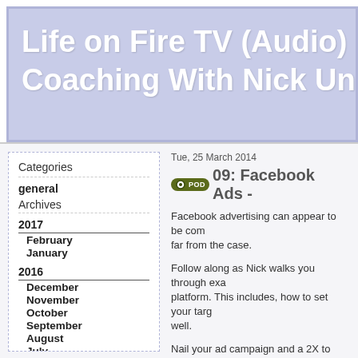Life on Fire TV (Audio) – O Coaching With Nick Unswo
Categories
general
Archives
2017
February
January
2016
December
November
October
September
August
July
June
May
Tue, 25 March 2014
09: Facebook Ads -
Facebook advertising can appear to be com far from the case.
Follow along as Nick walks you through exa platform. This includes, how to set your targ well.
Nail your ad campaign and a 2X to 10X retu
Getting your targeting right is one of the mo
Pay close attention to that part of the episod